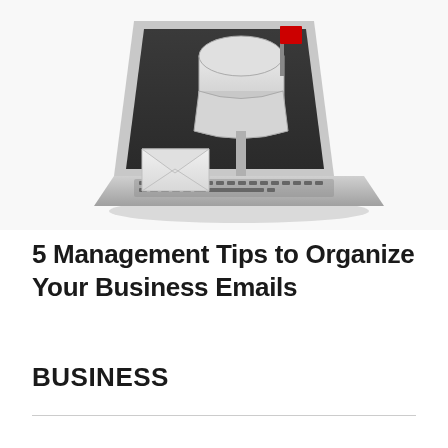[Figure (illustration): A laptop computer with a physical mailbox emerging from the screen. An envelope is in front of the laptop. The mailbox has a red flag raised. The image is in black and white/grayscale tones on a white background.]
5 Management Tips to Organize Your Business Emails
BUSINESS